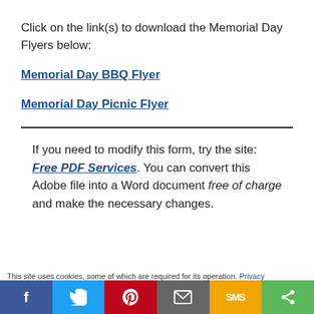Click on the link(s) to download the Memorial Day Flyers below:
Memorial Day BBQ Flyer
Memorial Day Picnic Flyer
If you need to modify this form, try the site: Free PDF Services. You can convert this Adobe file into a Word document free of charge and make the necessary changes.
This site uses cookies, some of which are required for its operation. Privacy